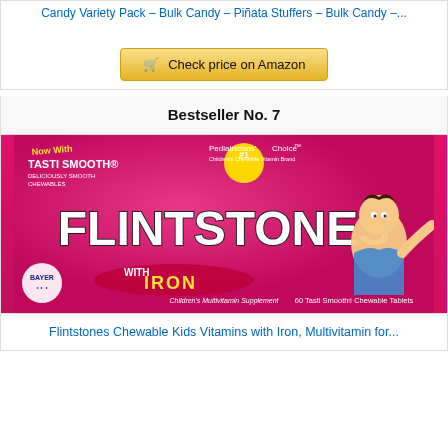Candy Variety Pack – Bulk Candy – Piñata Stuffers – Bulk Candy –...
🛒 Check price on Amazon
Bestseller No. 7
[Figure (photo): Flintstones with Iron Children's Multivitamin Supplement – 60 Tasti Smooth Chewable Tablets. Pink background with Flintstones logo, Fred Flintstone cartoon character, Bayer logo. Text: Now With Tasti Smooth – Deliciously Smooth Chewables, Pediatricians' #1 Choice, Children's Chewable Vitamin Brand, With Iron, Children's Multivitamin Supplement, 60 Tasti Smooth Chewable Tablets.]
Flintstones Chewable Kids Vitamins with Iron, Multivitamin for...